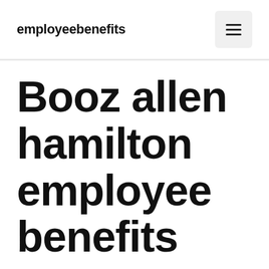employeebenefits
Booz allen hamilton employee benefits